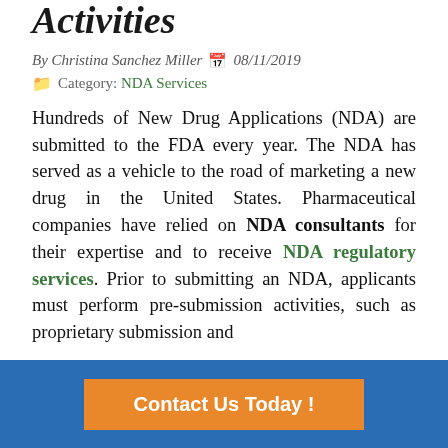Activities
By Christina Sanchez Miller  08/11/2019
Category: NDA Services
Hundreds of New Drug Applications (NDA) are submitted to the FDA every year. The NDA has served as a vehicle to the road of marketing a new drug in the United States. Pharmaceutical companies have relied on NDA consultants for their expertise and to receive NDA regulatory services. Prior to submitting an NDA, applicants must perform pre-submission activities, such as proprietary submission and
Contact Us Today !